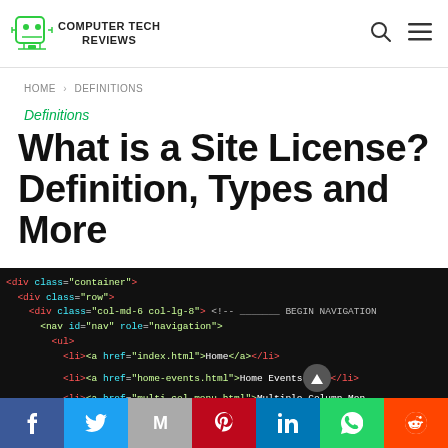COMPUTER TECH REVIEWS
HOME > DEFINITIONS
Definitions
What is a Site License? Definition, Types and More
[Figure (screenshot): Screenshot of HTML code on dark background showing div, nav, ul, and li tags with class and href attributes]
Social share bar: Facebook, Twitter, Gmail, Pinterest, LinkedIn, WhatsApp, Reddit